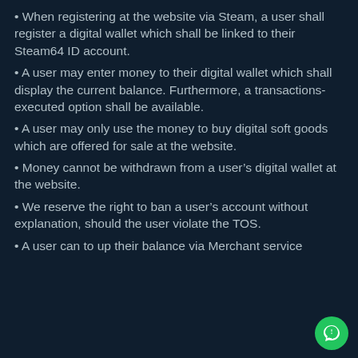When registering at the website via Steam, a user shall register a digital wallet which shall be linked to their Steam64 ID account.
A user may enter money to their digital wallet which shall display the current balance. Furthermore, a transactions-executed option shall be available.
A user may only use the money to buy digital soft goods which are offered for sale at the website.
Money cannot be withdrawn from a user’s digital wallet at the website.
We reserve the right to ban a user’s account without explanation, should the user violate the TOS.
A user can to up their balance via Merchant service